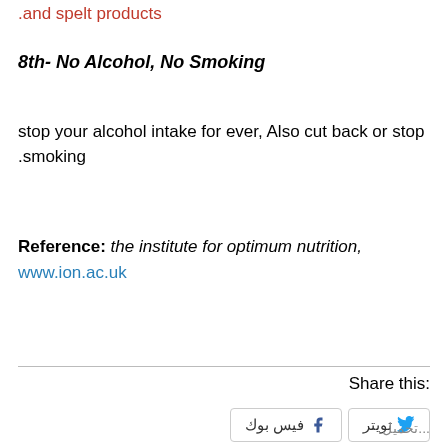.and spelt products
8th- No Alcohol, No Smoking
stop your alcohol intake for ever, Also cut back or stop .smoking
Reference: the institute for optimum nutrition, www.ion.ac.uk
:Share this
فيس بوك  تويتر
تحميل...